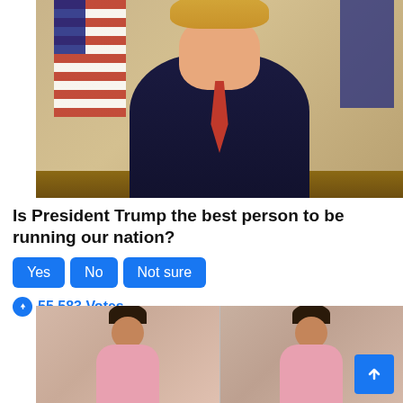[Figure (photo): Photo of President Donald Trump sitting at a desk in the Oval Office wearing a dark navy suit and red tie, with American flag on the left and a dark flag on the right]
Is President Trump the best person to be running our nation?
Yes  No  Not sure
55,583 Votes
[Figure (photo): Side-by-side photos of a young woman in a pink floral outfit, shown smiling on the left and with a neutral expression on the right]